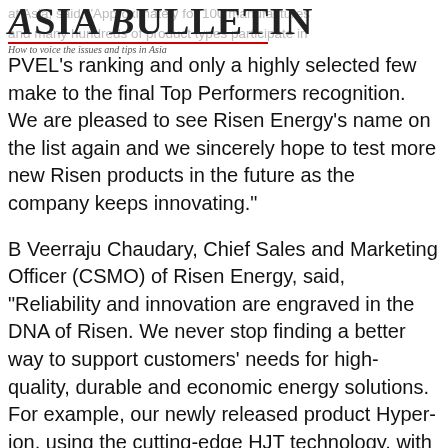Asia Bulletin — How to voice the issues and tips in Asia
at Asia, said, "Approximately for 100 manufactures and many hundreds of product types participate in PVEL's ranking and only a highly selected few make to the final Top Performers recognition. We are pleased to see Risen Energy's name on the list again and we sincerely hope to test more new Risen products in the future as the company keeps innovating."
B Veerraju Chaudary, Chief Sales and Marketing Officer (CSMO) of Risen Energy, said, "Reliability and innovation are engraved in the DNA of Risen. We never stop finding a better way to support customers' needs for high-quality, durable and economic energy solutions. For example, our newly released product Hyper-ion, using the cutting-edge HJT technology, with its power output more than 700Wp per Module, offers best choice for customers who are expecting higher performance with benchmark performance and reliability."